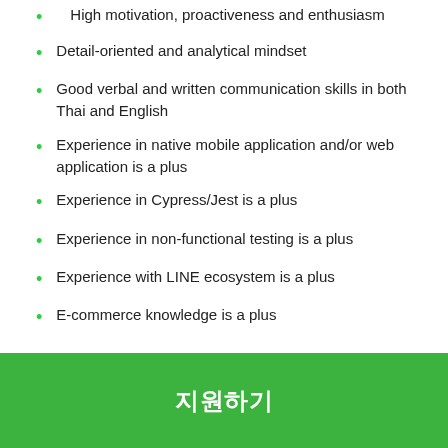High motivation, proactiveness and enthusiasm
Detail-oriented and analytical mindset
Good verbal and written communication skills in both Thai and English
Experience in native mobile application and/or web application is a plus
Experience in Cypress/Jest is a plus
Experience in non-functional testing is a plus
Experience with LINE ecosystem is a plus
E-commerce knowledge is a plus
지원하기